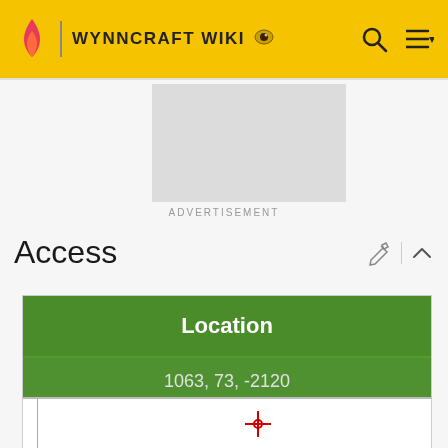WYNNCRAFT WIKI
[Figure (screenshot): Advertisement placeholder — gray rectangle]
ADVERTISEMENT
Access
| Location |
| --- |
| 1063, 73, -2120 |
[Figure (map): White map area with a red crosshair marker positioned in the lower-left quadrant]